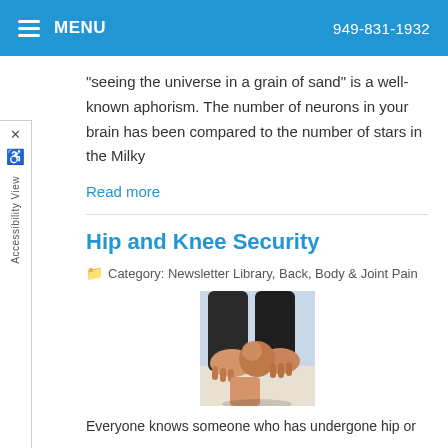MENU   949-831-1932
"seeing the universe in a grain of sand" is a well-known aphorism. The number of neurons in your brain has been compared to the number of stars in the Milky
Read more
Hip and Knee Security
Category: Newsletter Library, Back, Body & Joint Pain
[Figure (photo): Close-up photo of a person holding their knee with both hands, wearing dark athletic shorts, outdoor background]
Everyone knows someone who has undergone hip or